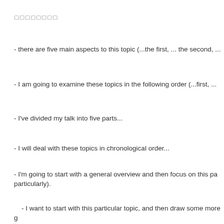xxxxxxxx
- there are five main aspects to this topic (...the first, ... the second, ...
- I am going to examine these topics in the following order (...first, ...
- I've divided my talk into five parts...
- I will deal with these topics in chronological order...
- I'm going to start with a general overview and then focus on this pa particularly).
- I want to start with this particular topic, and then draw some more g